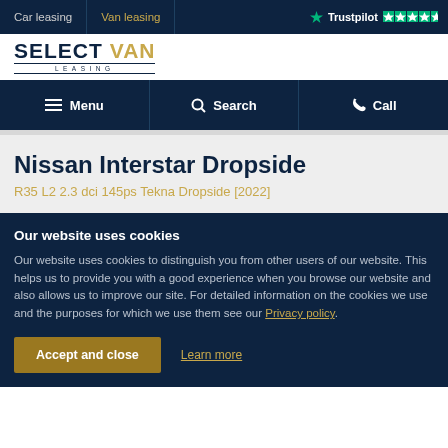Car leasing | Van leasing | Trustpilot ★★★★★
[Figure (logo): Select Van Leasing logo]
Menu | Search | Call
Nissan Interstar Dropside
R35 L2 2.3 dci 145ps Tekna Dropside [2022]
Our website uses cookies
Our website uses cookies to distinguish you from other users of our website. This helps us to provide you with a good experience when you browse our website and also allows us to improve our site. For detailed information on the cookies we use and the purposes for which we use them see our Privacy policy.
Accept and close | Learn more